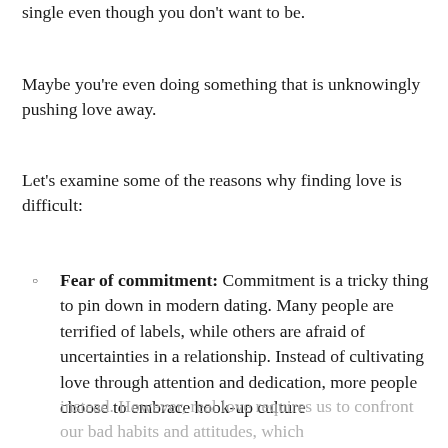There might be a specific reason why you're still single even though you don't want to be.
Maybe you're even doing something that is unknowingly pushing love away.
Let's examine some of the reasons why finding love is difficult:
Fear of commitment: Commitment is a tricky thing to pin down in modern dating. Many people are terrified of labels, while others are afraid of uncertainties in a relationship. Instead of cultivating love through attention and dedication, more people choose to embrace hook-up culture instead. However, real love requires us to confront our bad habits and attitudes, which